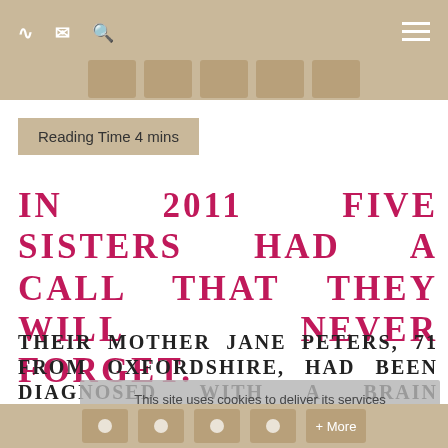Navigation bar with RSS, email, search icons and hamburger menu
Reading Time 4 mins
IN 2011 FIVE SISTERS HAD A CALL THAT THEY WILL NEVER FORGET.
THEIR MOTHER JANE PETERS, 71 FROM OXFORDSHIRE, HAD BEEN DIAGNOSED WITH A BRAIN TUMOUR.
This site uses cookies to deliver its services
OK
Here is their story and how three of the Sisters have turned a nightmare into a legacy by creating Box of